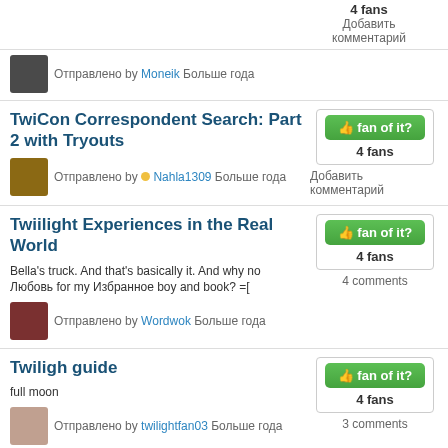4 fans
Добавить комментарий
Отправлено by Moneik Больше года
TwiCon Correspondent Search: Part 2 with Tryouts
4 fans
Добавить комментарий
Отправлено by Nahla1309 Больше года
Twiilight Experiences in the Real World
Bella's truck. And that's basically it. And why no Любовь for my Избранное boy and book? =[
4 fans
4 comments
Отправлено by Wordwok Больше года
Twiligh guide
full moon
4 fans
3 comments
Отправлено by twilightfan03 Больше года
twilight
4 fans
Добавить комментарий
Отправлено by love123 Больше года